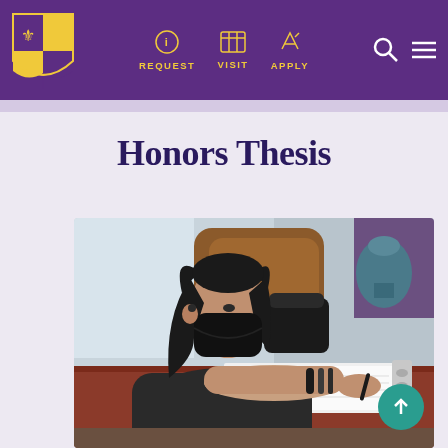REQUEST  VISIT  APPLY
Honors Thesis
[Figure (photo): A student wearing a black mask and black t-shirt leans over a red/brown table, writing on papers in a binder. A brown leather chair is visible behind her, and decorative items are in the background.]